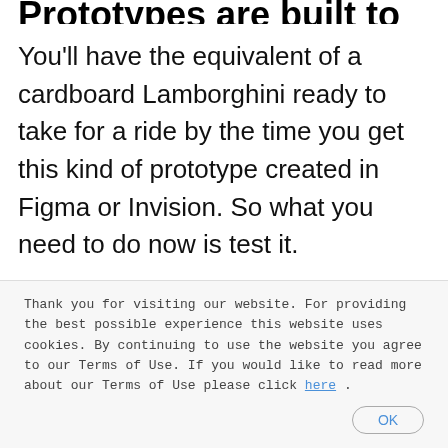Prototypes are built to be tested
You'll have the equivalent of a cardboard Lamborghini ready to take for a ride by the time you get this kind of prototype created in Figma or Invision. So what you need to do now is test it.
The value of the prototypes is felt and appreciated by future users and potential investors when they test them. This way you'll have a clear image of
Thank you for visiting our website. For providing the best possible experience this website uses cookies. By continuing to use the website you agree to our Terms of Use. If you would like to read more about our Terms of Use please click here .